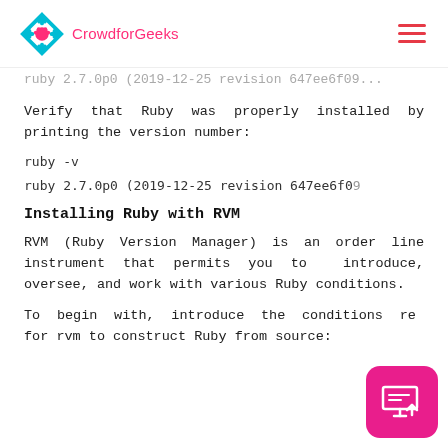CrowdforGeeks
ruby -v (truncated/greyed continuation from previous page)
Verify that Ruby was properly installed by printing the version number:
ruby -v
ruby 2.7.0p0 (2019-12-25 revision 647ee6f09
Installing Ruby with RVM
RVM (Ruby Version Manager) is an order line instrument that permits you to introduce, oversee, and work with various Ruby conditions.
To begin with, introduce the conditions required for rvm to construct Ruby from source:
[Figure (other): Pink floating button with monitor/screen upload icon]